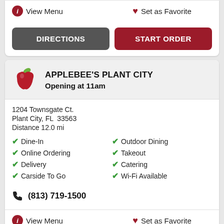View Menu
Set as Favorite
DIRECTIONS
START ORDER
APPLEBEE'S PLANT CITY
Opening at 11am
1204 Townsgate Ct.
Plant City, FL  33563
Distance 12.0 mi
Dine-In
Outdoor Dining
Online Ordering
Takeout
Delivery
Catering
Carside To Go
Wi-Fi Available
(813) 719-1500
View Menu
Set as Favorite